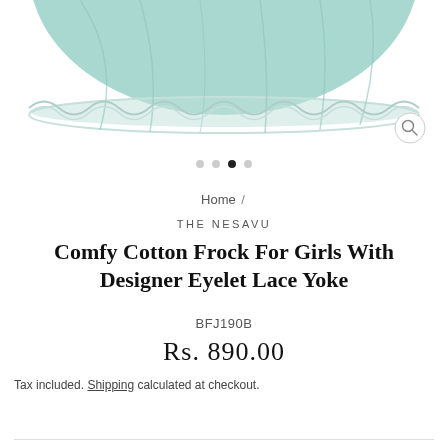[Figure (photo): Partial view of a mint/teal colored girls cotton frock with eyelet lace yoke detail, showing the bottom hemline with lace trim against white background]
Home /
THE NESAVU
Comfy Cotton Frock For Girls With Designer Eyelet Lace Yoke
BFJ190B
Rs. 890.00
Tax included. Shipping calculated at checkout.